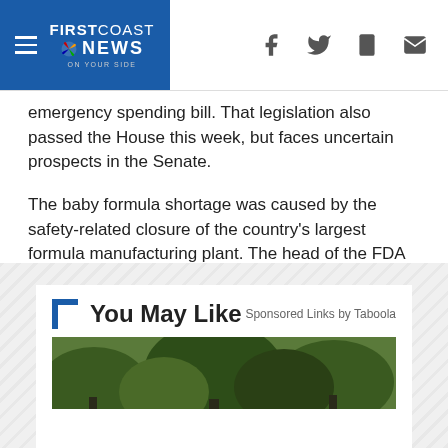FIRSTCOAST NEWS
emergency spending bill. That legislation also passed the House this week, but faces uncertain prospects in the Senate.
The baby formula shortage was caused by the safety-related closure of the country's largest formula manufacturing plant. The head of the FDA told lawmakers Thursday that the factory could be up and running as soon as next week.
[Figure (other): You May Like sponsored content section with Taboola branding and article preview image showing trees]
Sponsored Links by Taboola